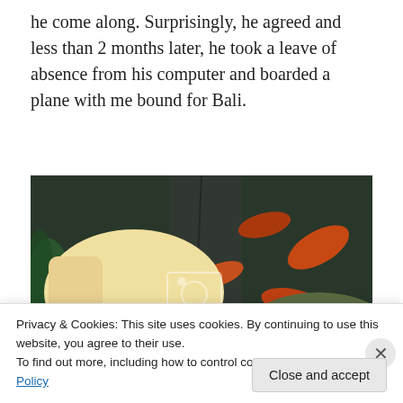he come along. Surprisingly, he agreed and less than 2 months later, he took a leave of absence from his computer and boarded a plane with me bound for Bali.
[Figure (photo): Selfie photo of a smiling blonde woman and a man wearing a camouflage cap, taken in front of a koi pond with orange and white fish visible in the dark water behind them. A Photobucket watermark is visible on the image.]
Privacy & Cookies: This site uses cookies. By continuing to use this website, you agree to their use.
To find out more, including how to control cookies, see here: Cookie Policy